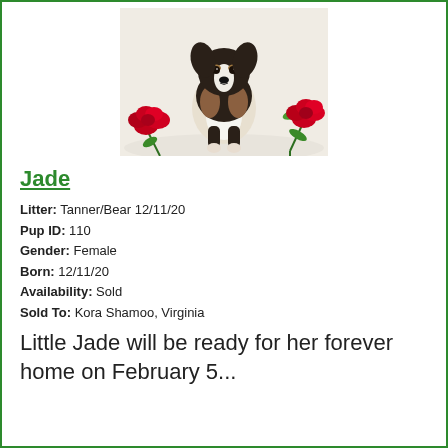[Figure (photo): A small tricolor puppy (black, white, and tan) sitting upright on a white fluffy surface surrounded by red roses]
Jade
Litter: Tanner/Bear 12/11/20
Pup ID: 110
Gender: Female
Born: 12/11/20
Availability: Sold
Sold To: Kora Shamoo, Virginia
Little Jade will be ready for her forever home on February 5...